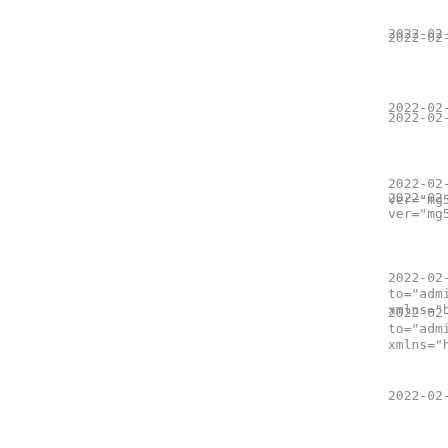2022-02-20 21...
2022-02-20 21...
2022-02-20 21...
ver="mg5bXbOe...
2022-02-20 21...
to="admin@tes...
xmlns="http:/...
2022-02-20 21...
2022-02-20 21...
2022-02-20 21...
ver="mg5bXbOe...
2022-02-20 21...
to="admin@tes...
xmlns="http:/...
2022-02-20 21...
ver="mg5bXbOe...
2022-02-20 21...